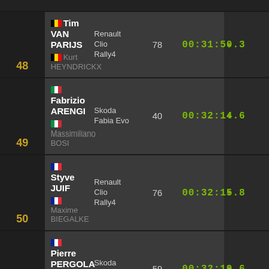| Pos | Driver/Co-driver | Car | No. | Time | Diff |
| --- | --- | --- | --- | --- | --- |
| 48 | Tim VAN PARIJS / Kurt HEYNDRICKX | Renault Clio Rally4 | 78 | 00:31:50.3 | + |
| 49 | Fabrizio ARENGI / Massimiliano BOSI | Skoda Fabia Evo | 40 | 00:32:14.6 | + |
| 50 | Styve JUIF / Maxime BIEGALKE | Renault Clio Rally4 | 76 | 00:32:15.8 | + |
| 51 | Pierre PERGOLA / Fabrice CORONA | Skoda Fabia | 59 | 00:32:19.6 | + |
| 52 | Esteban VALLÍN / Borja ODRIOZOLA | Renault Clio RS Line | 85 | 00:32:23.9 | + |